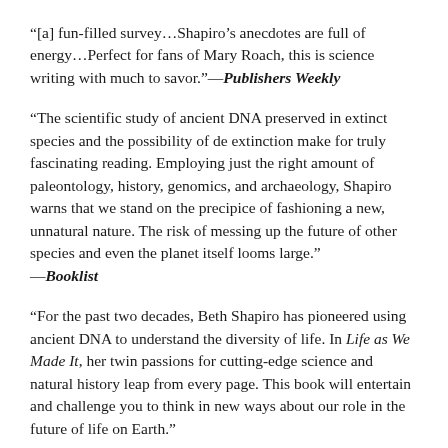“[a] fun-filled survey…Shapiro’s anecdotes are full of energy…Perfect for fans of Mary Roach, this is science writing with much to savor.”—Publishers Weekly
“The scientific study of ancient DNA preserved in extinct species and the possibility of de extinction make for truly fascinating reading. Employing just the right amount of paleontology, history, genomics, and archaeology, Shapiro warns that we stand on the precipice of fashioning a new, unnatural nature. The risk of messing up the future of other species and even the planet itself looms large.” —Booklist
“For the past two decades, Beth Shapiro has pioneered using ancient DNA to understand the diversity of life. In Life as We Made It, her twin passions for cutting-edge science and natural history leap from every page. This book will entertain and challenge you to think in new ways about our role in the future of life on Earth.”
—Neil Shubin, author, which introduces the author of Your Inner...